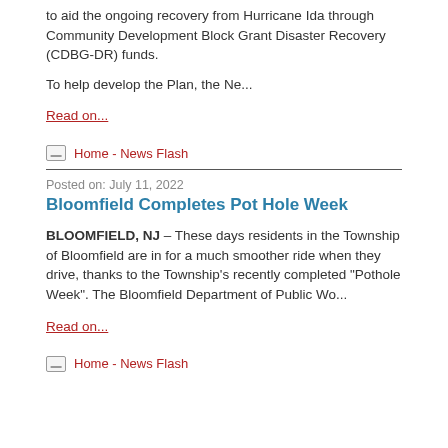to aid the ongoing recovery from Hurricane Ida through Community Development Block Grant Disaster Recovery (CDBG-DR) funds.
To help develop the Plan, the Ne...
Read on...
Home - News Flash
Posted on: July 11, 2022
Bloomfield Completes Pot Hole Week
BLOOMFIELD, NJ – These days residents in the Township of Bloomfield are in for a much smoother ride when they drive, thanks to the Township's recently completed “Pothole Week”. The Bloomfield Department of Public Wo...
Read on...
Home - News Flash